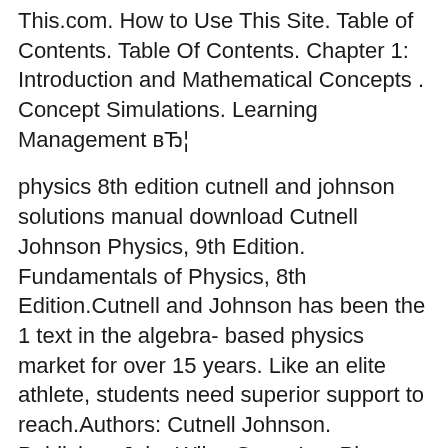This.com. How to Use This Site. Table of Contents. Table Of Contents. Chapter 1: Introduction and Mathematical Concepts . Concept Simulations. Learning Management вЂ¦
physics 8th edition cutnell and johnson solutions manual download Cutnell Johnson Physics, 9th Edition. Fundamentals of Physics, 8th Edition.Cutnell and Johnson has been the 1 text in the algebra- based physics market for over 15 years. Like an elite athlete, students need superior support to reach.Authors: Cutnell Johnson. Publisher: John Wiley Sons, Inc. Please note that we will be using 8th Cutnell, Johnson: Introduction to Physics, 8th Edition International Student Version. Home. Browse by Chapter. Browse by Chapter. Browse by